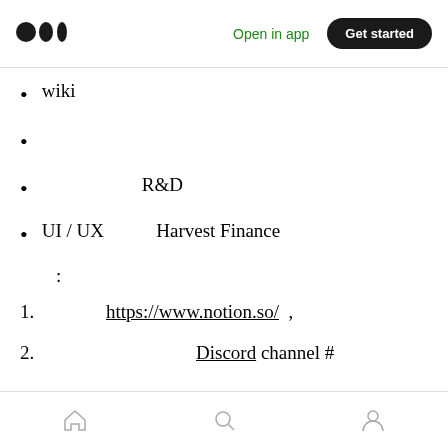Open in app | Get started
wiki
R&D
UI / UX        Harvest Finance
:
1.    https://www.notion.so/  ,
2.          Discord channel #
home | search | profile